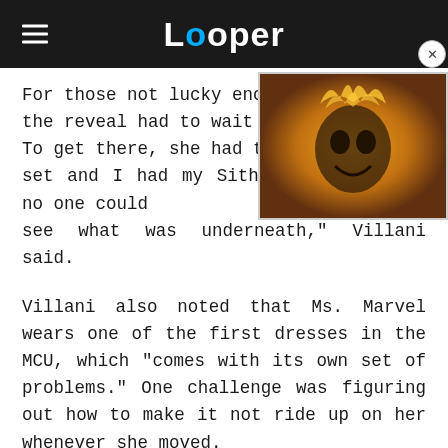Looper
[Figure (screenshot): Video player thumbnail showing a flaming skull character (Ghost Rider) with a play button overlay and a close (X) button in the top right corner.]
For those not lucky enough the reveal had to wait until To get there, she had to do set and I had my Sith Lord cape, and no one could see what was underneath," Villani said.
Villani also noted that Ms. Marvel wears one of the first dresses in the MCU, which "comes with its own set of problems." One challenge was figuring out how to make it not ride up on her whenever she moved.